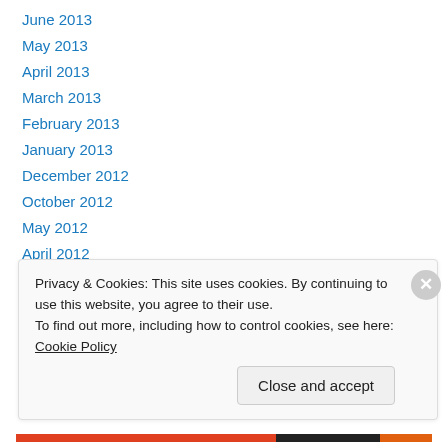June 2013
May 2013
April 2013
March 2013
February 2013
January 2013
December 2012
October 2012
May 2012
April 2012
March 2012
February 2012
January 2012
Privacy & Cookies: This site uses cookies. By continuing to use this website, you agree to their use. To find out more, including how to control cookies, see here: Cookie Policy